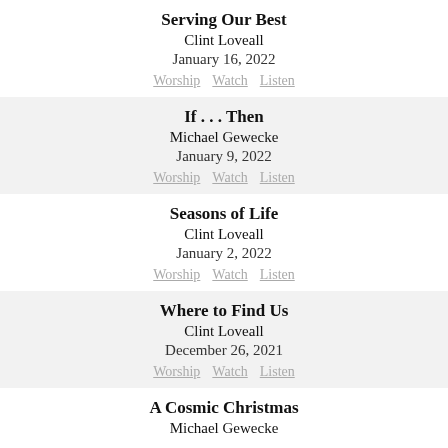Serving Our Best
Clint Loveall
January 16, 2022
Worship   Watch   Listen
If . . . Then
Michael Gewecke
January 9, 2022
Worship   Watch   Listen
Seasons of Life
Clint Loveall
January 2, 2022
Worship   Watch   Listen
Where to Find Us
Clint Loveall
December 26, 2021
Worship   Watch   Listen
A Cosmic Christmas
Michael Gewecke